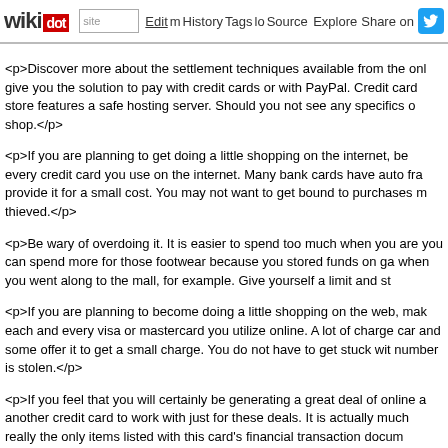wikidot | site | Edit | History | Tags | Source | Explore | Share on [Twitter]
<p>Discover more about the settlement techniques available from the onl give you the solution to pay with credit cards or with PayPal. Credit card store features a safe hosting server. Should you not see any specifics o shop.</p>
<p>If you are planning to get doing a little shopping on the internet, be every credit card you use on the internet. Many bank cards have auto fra provide it for a small cost. You may not want to get bound to purchases m thieved.</p>
<p>Be wary of overdoing it. It is easier to spend too much when you are you can spend more for those footwear because you stored funds on ga when you went along to the mall, for example. Give yourself a limit and st
<p>If you are planning to become doing a little shopping on the web, mak each and every visa or mastercard you utilize online. A lot of charge car and some offer it to get a small charge. You do not have to get stuck wit number is stolen.</p>
<p>If you feel that you will certainly be generating a great deal of online a another credit card to work with just for these deals. It is actually much really the only items listed with this card's financial transaction docum regarding your very own funds being affected, even briefly, in case you ar
<p>Choose an online retailer that gives the choice to profit those items yo your obtain, you will be able to return the product and obtain a refund. Es cover the delivery if you choose to come back the item.</p>
<p>The best and most dependable payment strategy to use while shoppi